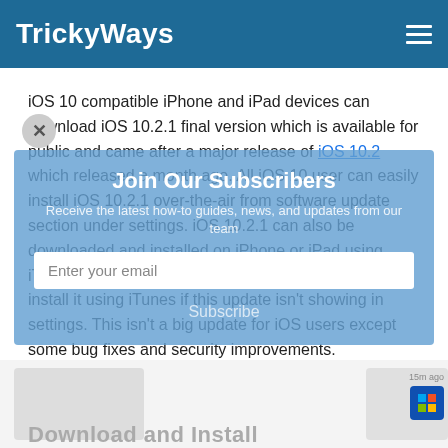TrickyWays
iOS 10 compatible iPhone and iPad devices can download iOS 10.2.1 final version which is available for public and came after a major release of iOS 10.2 which released a month ago. All iOS 10 user can easily install iOS 10.2.1 over-the-air from software update section under settings. iOS 10.2.1 can also be downloaded and installed on iPhone or iPad using iTunes on your Mac or PC. You have to download and install it using iTunes if this update isn't showing in settings. This isn't a big update for iOS users except some bug fixes and security improvements.
[Figure (screenshot): Subscription modal overlay with title 'Join Our Subscribers', description text 'Receive the latest how-to guides, news, and updates from our team', an email input field, and a Subscribe button. A close (x) button appears at the top left. The modal has a semi-transparent blue background.]
[Figure (screenshot): Bottom strip showing partial images of iPhone/iPad device and a notification panel with a Windows icon, representing a Download and Install section.]